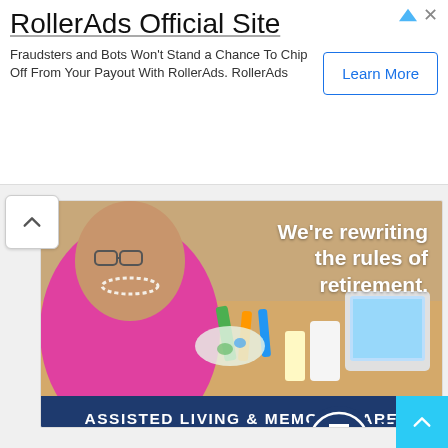RollerAds Official Site — Fraudsters and Bots Won't Stand a Chance To Chip Off From Your Payout With RollerAds. RollerAds
[Figure (photo): Elderly woman in pink top and pearl necklace painting at a table, with art supplies around her. Text overlay: 'We're rewriting the rules of retirement.']
ASSISTED LIVING & MEMORY CARE
Holistic programs. Harmonious lifestyle.
SCHEDULE A TOUR
[Figure (logo): Tribute at Melford logo — navy blue circular emblem with stylized T/F mark, text 'TRIBUTE AT MELFORD']